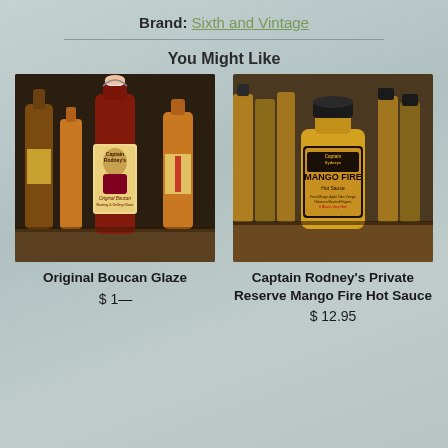Brand: Sixth and Vintage
You Might Like
[Figure (photo): Photo of Captain Rodney's Original Boucan Glaze bottles on a shelf, with the main bottle in center showing a pirate character label]
Original Boucan Glaze
[Figure (photo): Photo of Captain Rodney's Private Reserve Mango Fire Hot Sauce bottle, yellow-orange sauce, with more bottles in background]
Captain Rodney's Private Reserve Mango Fire Hot Sauce
$ 12.95